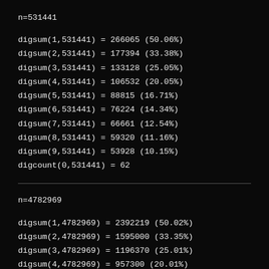n=531441
digsum(1,531441) = 266065 (50.06%)
digsum(2,531441) = 177394 (33.38%)
digsum(3,531441) = 133128 (25.05%)
digsum(4,531441) = 106532 (20.05%)
digsum(5,531441) = 88815 (16.71%)
digsum(6,531441) = 76224 (14.34%)
digsum(7,531441) = 66661 (12.54%)
digsum(8,531441) = 59320 (11.16%)
digsum(9,531441) = 53928 (10.15%)
digcount(0,531441) = 62
n=4782969
digsum(1,4782969) = 2392219 (50.02%)
digsum(2,4782969) = 1595000 (33.35%)
digsum(3,4782969) = 1196370 (25.01%)
digsum(4,4782969) = 957300 (20.01%)